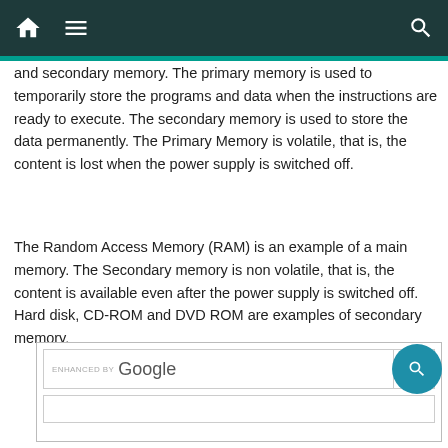Navigation bar with home, menu, and search icons
and secondary memory. The primary memory is used to temporarily store the programs and data when the instructions are ready to execute. The secondary memory is used to store the data permanently. The Primary Memory is volatile, that is, the content is lost when the power supply is switched off.
The Random Access Memory (RAM) is an example of a main memory. The Secondary memory is non volatile, that is, the content is available even after the power supply is switched off. Hard disk, CD-ROM and DVD ROM are examples of secondary memory.
[Figure (screenshot): Enhanced by Google search bar widget with search button]